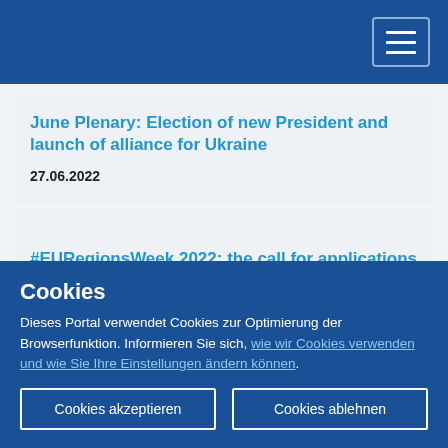Navigation menu header bar with hamburger icon
June Plenary: Election of new President and launch of alliance for Ukraine
27.06.2022
#EURegionsWeek 2022: the call for applications for side events is open
Cookies
Dieses Portal verwendet Cookies zur Optimierung der Browserfunktion. Informieren Sie sich, wie wir Cookies verwenden und wie Sie Ihre Einstellungen ändern können.
Cookies akzeptieren
Cookies ablehnen